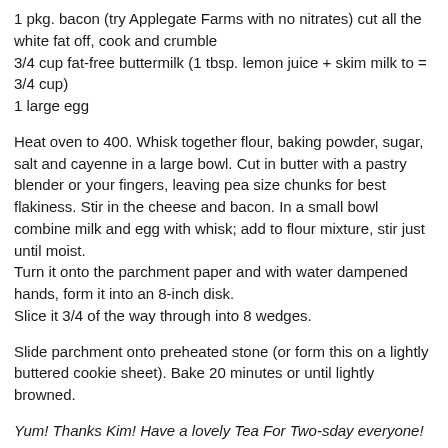1 pkg. bacon (try Applegate Farms with no nitrates) cut all the white fat off, cook and crumble
3/4 cup fat-free buttermilk (1 tbsp. lemon juice + skim milk to = 3/4 cup)
1 large egg
Heat oven to 400. Whisk together flour, baking powder, sugar, salt and cayenne in a large bowl. Cut in butter with a pastry blender or your fingers, leaving pea size chunks for best flakiness. Stir in the cheese and bacon. In a small bowl combine milk and egg with whisk; add to flour mixture, stir just until moist.
Turn it onto the parchment paper and with water dampened hands, form it into an 8-inch disk.
Slice it 3/4 of the way through into 8 wedges.
Slide parchment onto preheated stone (or form this on a lightly buttered cookie sheet). Bake 20 minutes or until lightly browned.
Yum! Thanks Kim! Have a lovely Tea For Two-sday everyone!